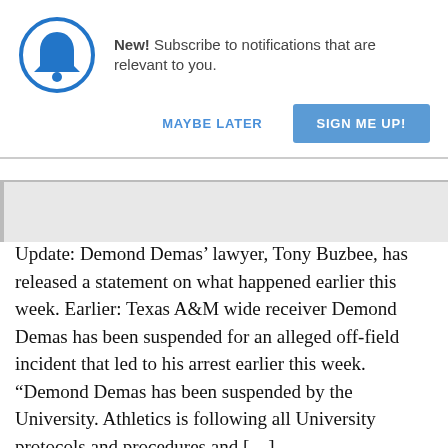[Figure (infographic): Bell notification icon inside a blue circle]
New! Subscribe to notifications that are relevant to you.
MAYBE LATER
SIGN ME UP!
Update: Demond Demas’ lawyer, Tony Buzbee, has released a statement on what happened earlier this week. Earlier: Texas A&M wide receiver Demond Demas has been suspended for an alleged off-field incident that led to his arrest earlier this week. “Demond Demas has been suspended by the University. Athletics is following all University protocols and procedures and […]